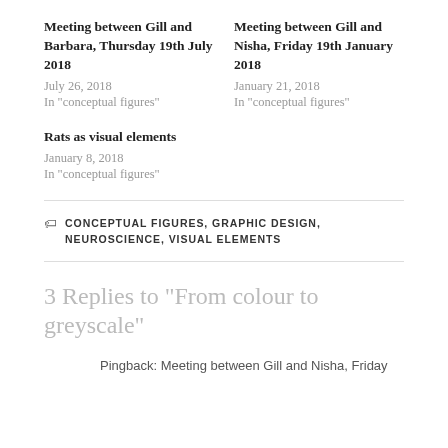Meeting between Gill and Barbara, Thursday 19th July 2018
July 26, 2018
In “conceptual figures”
Meeting between Gill and Nisha, Friday 19th January 2018
January 21, 2018
In “conceptual figures”
Rats as visual elements
January 8, 2018
In “conceptual figures”
CONCEPTUAL FIGURES, GRAPHIC DESIGN, NEUROSCIENCE, VISUAL ELEMENTS
3 Replies to “From colour to greyscale”
Pingback: Meeting between Gill and Nisha, Friday